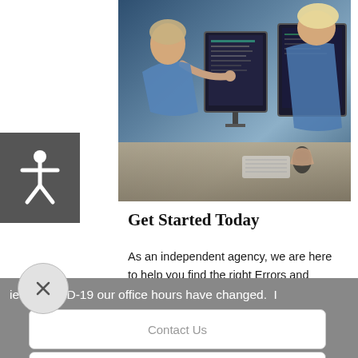[Figure (photo): Two people working at computer monitors in an office setting; one person pointing at a screen, the other using a mouse.]
[Figure (illustration): Accessibility icon: white stick figure with arms outstretched on dark gray background, representing a web accessibility toggle button.]
Get Started Today
As an independent agency, we are here to help you find the right Errors and Omissions Liability Insurance coverage.
[Figure (illustration): Close button: circular X button (dismiss overlay) in light gray.]
ie to COVID-19 our office hours have changed.  I
Contact Us
Get a Quote